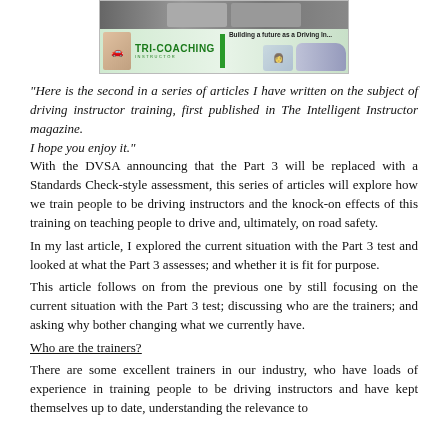[Figure (logo): Tri-Coaching banner image with text 'Building a future as a Driving In...' and TRI-COACHING INSTRUCTOR logo with car imagery and green/grey color scheme]
"Here is the second in a series of articles I have written on the subject of driving instructor training, first published in The Intelligent Instructor magazine.
I hope you enjoy it."
With the DVSA announcing that the Part 3 will be replaced with a Standards Check-style assessment, this series of articles will explore how we train people to be driving instructors and the knock-on effects of this training on teaching people to drive and, ultimately, on road safety.
In my last article, I explored the current situation with the Part 3 test and looked at what the Part 3 assesses; and whether it is fit for purpose.
This article follows on from the previous one by still focusing on the current situation with the Part 3 test; discussing who are the trainers; and asking why bother changing what we currently have.
Who are the trainers?
There are some excellent trainers in our industry, who have loads of experience in training people to be driving instructors and have kept themselves up to date, understanding the relevance to